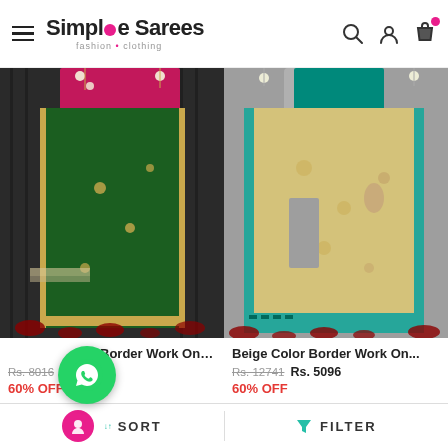Simple Sarees — fashion • clothing
[Figure (photo): Woman wearing a dark green saree with gold border and embroidery, photographed against a dark decorative background with rose petals on ground]
[Figure (photo): Woman wearing a beige/cream saree with teal/turquoise border and floral print, photographed against a grey stone column background with rose petals]
B... Border Work On D...
Beige Color Border Work On...
Rs. 8016  Rs. 3206
Rs. 12741  Rs. 5096
60% OFF
60% OFF
SORT    FILTER